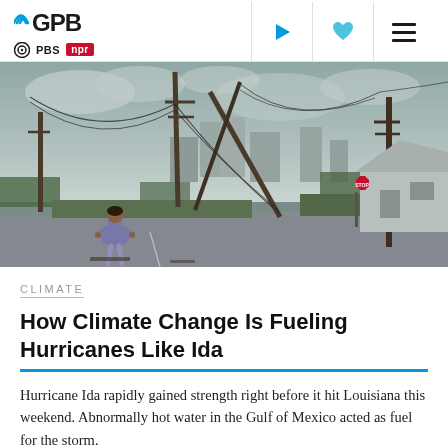GPB | PBS | NPR — navigation header with play, favorite, and menu icons
[Figure (photo): A person stands in the middle of a street surveying damage from Hurricane Ida — downed power poles and tangled electrical wires block the road, with houses and a cloudy sky in the background.]
CLIMATE
How Climate Change Is Fueling Hurricanes Like Ida
Hurricane Ida rapidly gained strength right before it hit Louisiana this weekend. Abnormally hot water in the Gulf of Mexico acted as fuel for the storm.